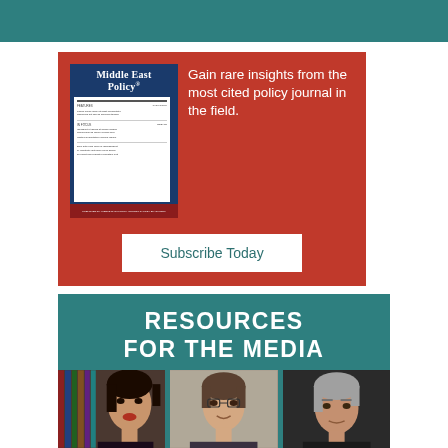[Figure (other): Teal/dark green horizontal bar at top of page]
[Figure (infographic): Red advertisement box for Middle East Policy journal with magazine cover image on left and text 'Gain rare insights from the most cited policy journal in the field.' on right, with 'Subscribe Today' white button at bottom]
[Figure (infographic): Teal banner reading 'RESOURCES FOR THE MEDIA' with three headshot photos of speakers/experts below]